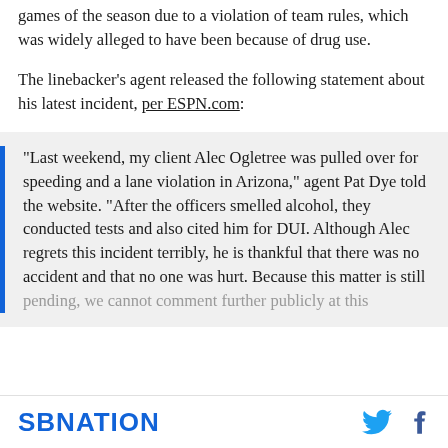this year, getting himself suspended for the first four games of the season due to a violation of team rules, which was widely alleged to have been because of drug use.
The linebacker's agent released the following statement about his latest incident, per ESPN.com:
"Last weekend, my client Alec Ogletree was pulled over for speeding and a lane violation in Arizona," agent Pat Dye told the website. "After the officers smelled alcohol, they conducted tests and also cited him for DUI. Although Alec regrets this incident terribly, he is thankful that there was no accident and that no one was hurt. Because this matter is still pending, we cannot comment further publicly at this
SBNATION